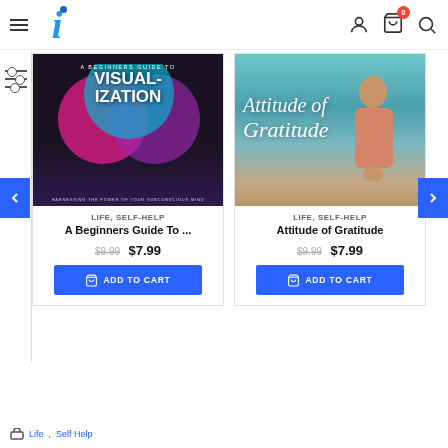Navigation header with logo, hamburger menu, user icon, cart icon (0 items), and search icon
[Figure (screenshot): Book cover: A Beginners Guide To VISUALIZATION with overlapping pink, blue, teal circles on dark background]
LIFE, SELF-HELP
A Beginners Guide To ...
$9.99  $7.99
ADD TO CART
[Figure (screenshot): Book cover: Attitude of Gratitude with man in orange shirt praying by waterfront, script text overlay]
LIFE, SELF-HELP
Attitude of Gratitude
$9.99  $7.99
ADD TO CART
Life, Self Help